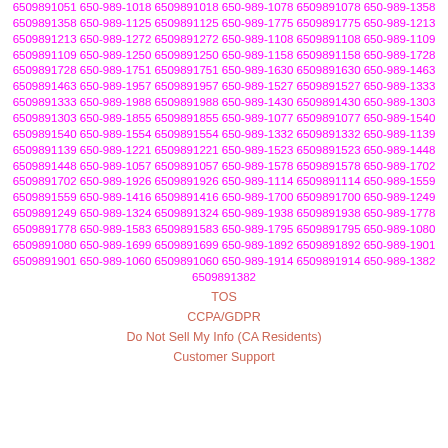6509891051 650-989-1018 6509891018 650-989-1078 6509891078 650-989-1358 6509891358 650-989-1125 6509891125 650-989-1775 6509891775 650-989-1213 6509891213 650-989-1272 6509891272 650-989-1108 6509891108 650-989-1109 6509891109 650-989-1250 6509891250 650-989-1158 6509891158 650-989-1728 6509891728 650-989-1751 6509891751 650-989-1630 6509891630 650-989-1463 6509891463 650-989-1957 6509891957 650-989-1527 6509891527 650-989-1333 6509891333 650-989-1988 6509891988 650-989-1430 6509891430 650-989-1303 6509891303 650-989-1855 6509891855 650-989-1077 6509891077 650-989-1540 6509891540 650-989-1554 6509891554 650-989-1332 6509891332 650-989-1139 6509891139 650-989-1221 6509891221 650-989-1523 6509891523 650-989-1448 6509891448 650-989-1057 6509891057 650-989-1578 6509891578 650-989-1702 6509891702 650-989-1926 6509891926 650-989-1114 6509891114 650-989-1559 6509891559 650-989-1416 6509891416 650-989-1700 6509891700 650-989-1249 6509891249 650-989-1324 6509891324 650-989-1938 6509891938 650-989-1778 6509891778 650-989-1583 6509891583 650-989-1795 6509891795 650-989-1080 6509891080 650-989-1699 6509891699 650-989-1892 6509891892 650-989-1901 6509891901 650-989-1060 6509891060 650-989-1914 6509891914 650-989-1382 6509891382
TOS
CCPA/GDPR
Do Not Sell My Info (CA Residents)
Customer Support